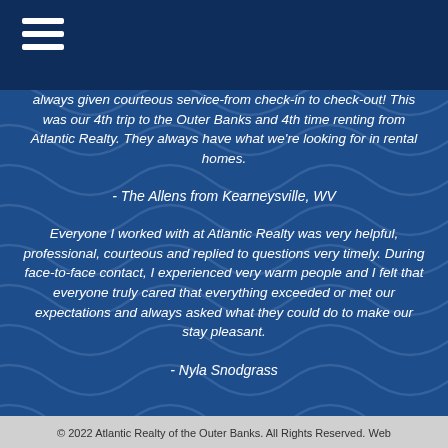[Hamburger menu icon]
always given courteous service-from check-in to check-out!  This was our 4th trip to the Outer Banks and 4th time renting from Atlantic Realty. They always have what we're looking for in rental homes.
- The Allens from Kearneysville, WV
Everyone I worked with at Atlantic Realty was very helpful, professional, courteous and replied to questions very timely. During face-to-face contact, I experienced very warm people and I felt that everyone truly cared that everything exceeded or met our expectations and always asked what they could do to make our stay pleasant.
- Nyla Snodgrass
© 2022 Atlantic Realty of the Outer Banks. All Rights Reserved. Web